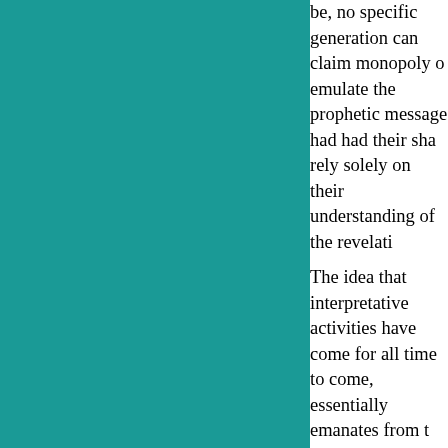be, no specific generation can claim monopoly of emulate the prophetic message had had their sha rely solely on their understanding of the revelati
The idea that interpretative activities have come for all time to come, essentially emanates from t message with history. We must understand that h stage of the prophetic message that in future has of all traditions, singing in unison the glory of or and not on the simple message itself. For examp first three caliphs legitimate, Sunni Islam places four fuqaha who rose to prominence due to the s what they have been made into, or not, can hardl of hadeeth compendiums. Compiled in the fourth literature as they are devoutly called the sehah s not cast a shadow on our faith. But doing so will Islam too rests on a similar canonization of histo such as the divine origin of Imamate where Ali a development. As late as the middle of the third c traditions, there were no separate books for Shei essentially Shei traditions in Bukhari and Muslir back historical Islam, this process will trigger th in a position to re-envision the prophetic messag
It is the historical Islam that we have been uphol history, as it were, it tells us that the pious elders negotiable, and a critical look at the canon period